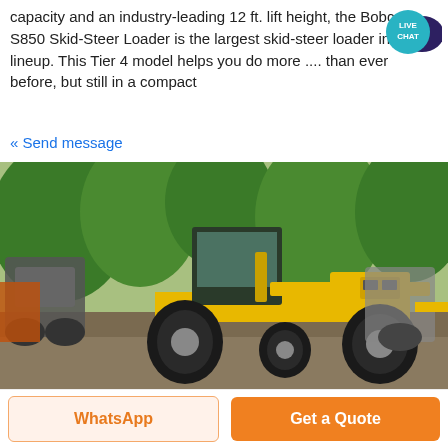capacity and an industry-leading 12 ft. lift height, the Bobcat S850 Skid-Steer Loader is the largest skid-steer loader in the lineup. This Tier 4 model helps you do more .... than ever before, but still in a compact
[Figure (logo): Live Chat speech bubble badge — teal circle with white text LIVE CHAT and dark purple speech bubble icon]
« Send message
[Figure (photo): Outdoor photo of a yellow motor grader (CAT-style) parked among other heavy construction equipment including road rollers, with green trees in background on a paved/dirt lot]
WhatsApp
Get a Quote